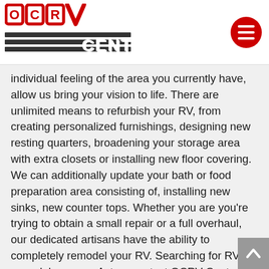OCRV CENTER logo and navigation menu
individual feeling of the area you currently have, allow us bring your vision to life. There are unlimited means to refurbish your RV, from creating personalized furnishings, designing new resting quarters, broadening your storage area with extra closets or installing new floor covering. We can additionally update your bath or food preparation area consisting of, installing new sinks, new counter tops. Whether you are you’re trying to obtain a small repair or a full overhaul, our dedicated artisans have the ability to completely remodel your RV. Searching for RV remodel near me Acton, contact OCRV Center today.
OCRV Treats the Source, Not the Symptom!
Have you ever before taken your RV to an RV repair shop and also weeks or months later on see that they essentially placed a band-aid on your valuable RV? No demand to worry about that below at OCRV Facility in near